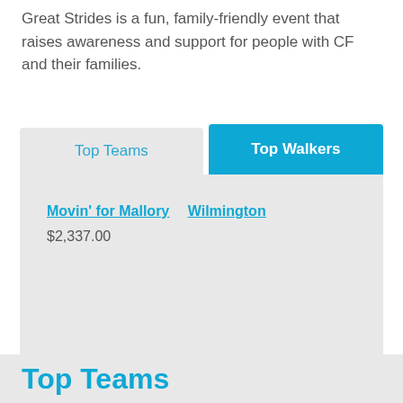Great Strides is a fun, family-friendly event that raises awareness and support for people with CF and their families.
Top Teams | Top Walkers
Movin' for Mallory   Wilmington
$2,337.00
Top Teams